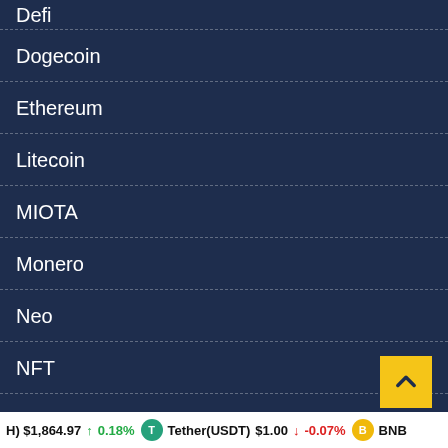Defi
Dogecoin
Ethereum
Litecoin
MIOTA
Monero
Neo
NFT
Polkadot
Ripple
Safemoon
SHIBA INU
Solana
$1,864.97 ↑ 0.18% Tether(USDT) $1.00 ↓ -0.07% BNB